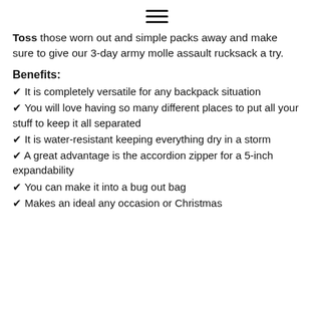≡
Toss those worn out and simple packs away and make sure to give our 3-day army molle assault rucksack a try.
Benefits:
✔ It is completely versatile for any backpack situation
✔ You will love having so many different places to put all your stuff to keep it all separated
✔ It is water-resistant keeping everything dry in a storm
✔ A great advantage is the accordion zipper for a 5-inch expandability
✔ You can make it into a bug out bag
✔ Makes an ideal any occasion or Christmas